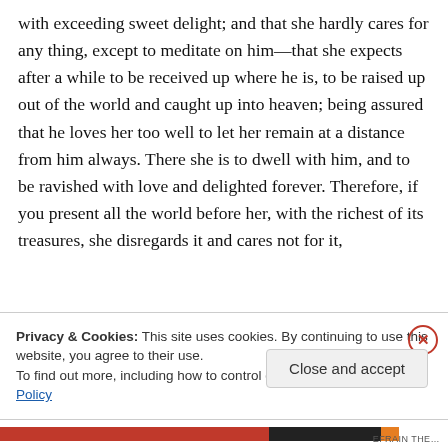with exceeding sweet delight; and that she hardly cares for any thing, except to meditate on him—that she expects after a while to be received up where he is, to be raised up out of the world and caught up into heaven; being assured that he loves her too well to let her remain at a distance from him always. There she is to dwell with him, and to be ravished with love and delighted forever. Therefore, if you present all the world before her, with the richest of its treasures, she disregards it and cares not for it,
Privacy & Cookies: This site uses cookies. By continuing to use this website, you agree to their use.
To find out more, including how to control cookies, see here: Cookie Policy
Close and accept